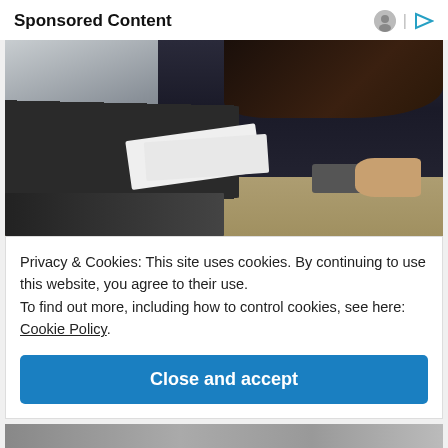Sponsored Content
[Figure (photo): Woman in dark clothing working at a desk with a laptop, papers, and smartphone]
Privacy & Cookies: This site uses cookies. By continuing to use this website, you agree to their use.
To find out more, including how to control cookies, see here: Cookie Policy.
Close and accept